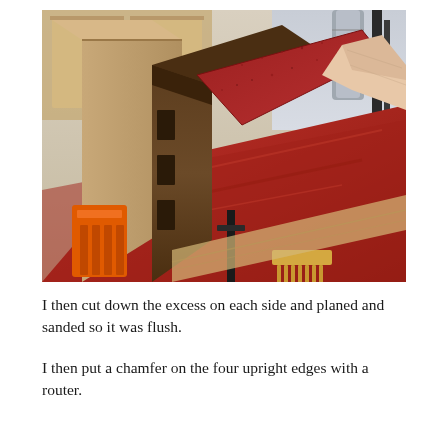[Figure (photo): Close-up photograph of a wooden joint being sanded. A hand holds a piece of red sandpaper against the corner of a dark wood mortise and tenon joint. An orange clamp is visible in the lower left, and workshop tools and a red workbench surface are visible in the background.]
I then cut down the excess on each side and planed and sanded so it was flush.
I then put a chamfer on the four upright edges with a router.